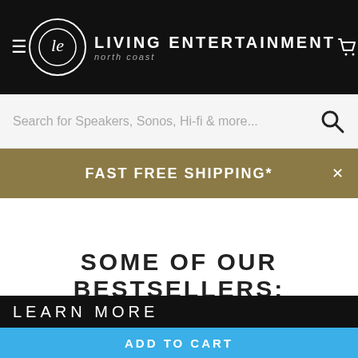LIVING ENTERTAINMENT north coast
Search for Speakers, Sonos, Hi-fi & more...
FAST FREE SHIPPING*
SOME OF OUR BESTSELLERS:
LEARN MORE
ADD TO CART